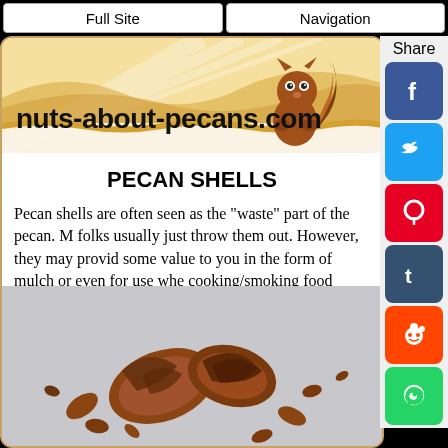Full Site | Navigation
[Figure (illustration): nuts-about-pecans.com website banner with wavy tan/gold background and squirrel illustration]
PECAN SHELLS
Pecan shells are often seen as the "waste" part of the pecan. Most folks usually just throw them out. However, they may provide some value to you in the form of mulch or even for use when cooking/smoking food outdoors.
[Figure (photo): Photo of cracked pecan shells scattered on a light gray background]